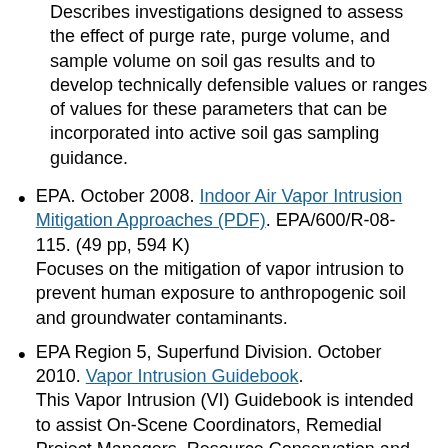Describes investigations designed to assess the effect of purge rate, purge volume, and sample volume on soil gas results and to develop technically defensible values or ranges of values for these parameters that can be incorporated into active soil gas sampling guidance.
EPA. October 2008. Indoor Air Vapor Intrusion Mitigation Approaches (PDF). EPA/600/R-08-115. (49 pp, 594 K)
Focuses on the mitigation of vapor intrusion to prevent human exposure to anthropogenic soil and groundwater contaminants.
EPA Region 5, Superfund Division. October 2010. Vapor Intrusion Guidebook.
This Vapor Intrusion (VI) Guidebook is intended to assist On-Scene Coordinators, Remedial Project Managers, Resource Conservation and Recovery Act Project Managers, and Site Assessment Managers as